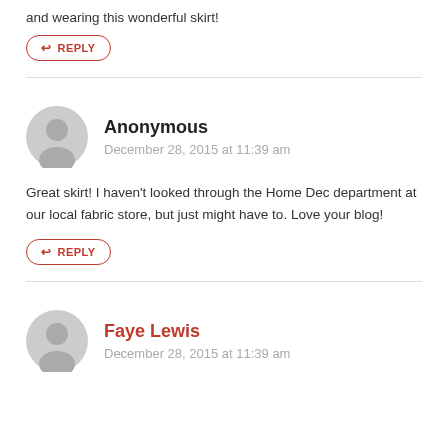and wearing this wonderful skirt!
↩ REPLY
Anonymous
December 28, 2015 at 11:39 am
Great skirt! I haven't looked through the Home Dec department at our local fabric store, but just might have to. Love your blog!
↩ REPLY
Faye Lewis
December 28, 2015 at 11:39 am